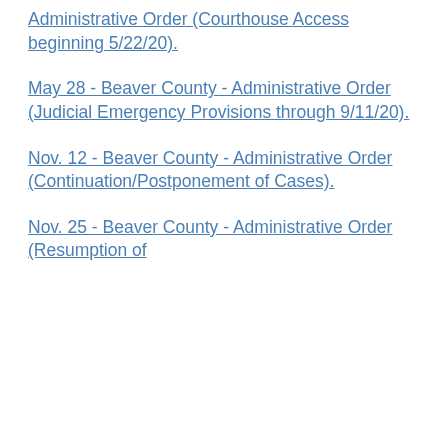Administrative Order (Courthouse Access beginning 5/22/20).
May 28 - Beaver County - Administrative Order (Judicial Emergency Provisions through 9/11/20).
Nov. 12 - Beaver County - Administrative Order (Continuation/Postponement of Cases).
Nov. 25 - Beaver County - Administrative Order (Resumption of...